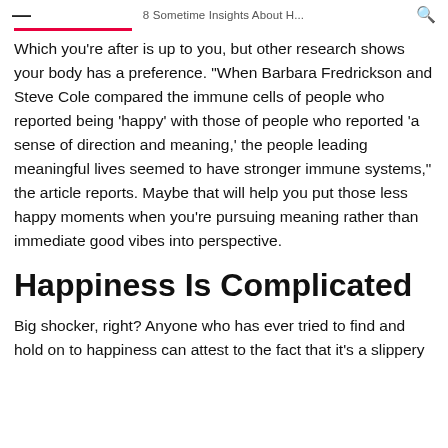8 Sometime Insights About H...
Which you're after is up to you, but other research shows your body has a preference. "When Barbara Fredrickson and Steve Cole compared the immune cells of people who reported being 'happy' with those of people who reported 'a sense of direction and meaning,' the people leading meaningful lives seemed to have stronger immune systems," the article reports. Maybe that will help you put those less happy moments when you're pursuing meaning rather than immediate good vibes into perspective.
Happiness Is Complicated
Big shocker, right? Anyone who has ever tried to find and hold on to happiness can attest to the fact that it's a slippery